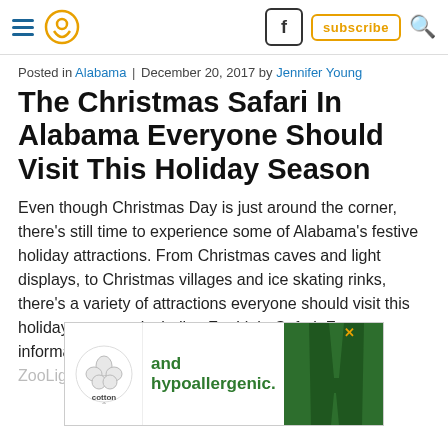Navigation bar with hamburger menu, location pin icon, Facebook button, subscribe button, search icon
Posted in Alabama | December 20, 2017 by Jennifer Young
The Christmas Safari In Alabama Everyone Should Visit This Holiday Season
Even though Christmas Day is just around the corner, there's still time to experience some of Alabama's festive holiday attractions. From Christmas caves and light displays, to Christmas villages and ice skating rinks, there's a variety of attractions everyone should visit this holiday season—including ZooLight Safari. For information about ZooLig...
[Figure (other): Cotton brand advertisement showing logo and text 'and hypoallergenic.' with green clothing image]